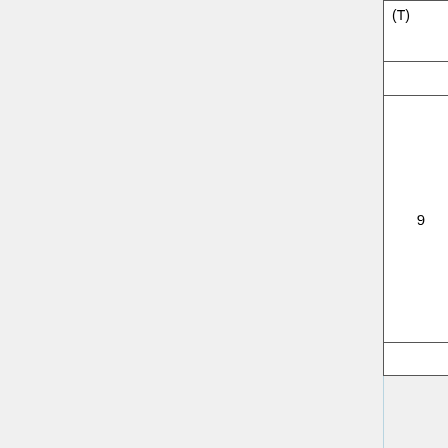| Week | Date | Topic | Reading |
| --- | --- | --- | --- |
|  | 23 NOV. (F) | NO CLASS, Thanksgiving Holiday |  |
| 9 | Jacobian & Differential Drive Kinematics |  |  |
| 9 | 26 Nov. (M) | Jacobians, Differential Drive Kinematics | MLS Chapt 3, Section 4 pages 115-121; Kinematics of a Differential Drive Vehicle |
| 9 | 28 Nov. (W) | Differential Drive Kinematics |  |
| 9 | 30 Nov. (F) | Inverse Kinematics | MLS Chapt 3, pages 97-99 |